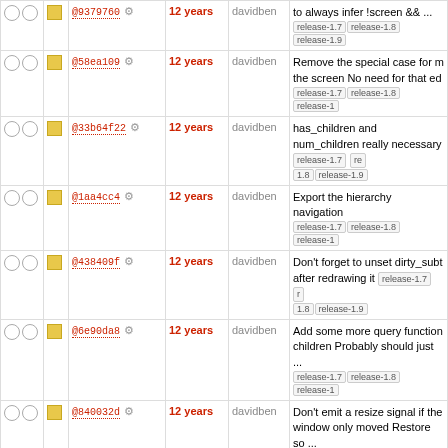|  |  | hash | age | author | message |
| --- | --- | --- | --- | --- | --- |
| ○ ○ | □ | @9379760 ⚙ | 12 years | davidben | to always infer !screen && ...
release-1.7 release-1.8 release-1.9 |
| ○ ○ | □ | @58ea109 ⚙ | 12 years | davidben | Remove the special case for m the screen No need for that ed
release-1.7 release-1.8 release-1 |
| ○ ○ | □ | @33b64f22 ⚙ | 12 years | davidben | has_children and num_children really necessary release-1.7 re 1.8 release-1.9 |
| ○ ○ | □ | @1aa4cc4 ⚙ | 12 years | davidben | Export the hierarchy navigation
release-1.7 release-1.8 release-1 |
| ○ ○ | □ | @438409f ⚙ | 12 years | davidben | Don't forget to unset dirty_subt after redrawing it release-1.7 r 1.8 release-1.9 |
| ○ ○ | □ | @6e90da8 ⚙ | 12 years | davidben | Add some more query function children Probably should just ...
release-1.7 release-1.8 release-1 |
| ○ ○ | □ | @840032d ⚙ | 12 years | davidben | Don't emit a resize signal if the window only moved Restore so ...
release-1.7 release-1.8 releas |
| ○ ○ | □ | @8f9a044 ⚙ | 12 years | davidben | Move the standard callbacks in separate file release-1.7 release 1.8 release-1.9 |
| ○ ○ | □ | @d7c1dbe ⚙ | 12 years | davidben | Remove the stacking order fun We don't currently use them, a
release-1.7 release-1.8 release-1 |
| ○ ○ | □ | @aab7af1 ⚙ | 12 years | davidben | Make unlinked handling more e
release-1.7 release-1.8 release-1 |
| ○ ○ | □ | @f70a7a3 ⚙ | 12 years | davidben | Add a default cursor and fallba finally on the screen Also get ri
release-1.7 release-1.8 release-1 |